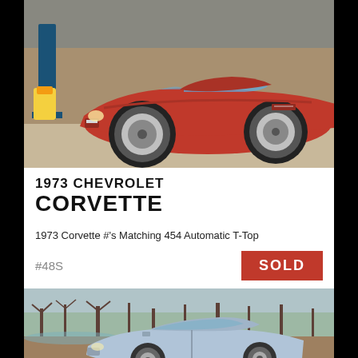[Figure (photo): Red 1973 Chevrolet Corvette photographed indoors in a garage, front/side angle, parked near a lift with yellow equipment visible]
1973 CHEVROLET CORVETTE
1973 Corvette #'s Matching 454 Automatic T-Top
#48S
SOLD
[Figure (photo): Light blue/silver classic car photographed outdoors near a pond or lake with bare trees in background]